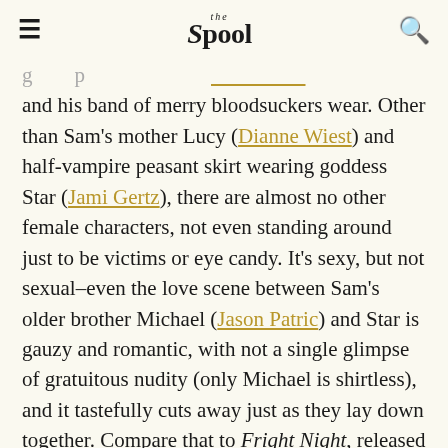The Spool
and his band of merry bloodsuckers wear. Other than Sam's mother Lucy (Dianne Wiest) and half-vampire peasant skirt wearing goddess Star (Jami Gertz), there are almost no other female characters, not even standing around just to be victims or eye candy. It's sexy, but not sexual–even the love scene between Sam's older brother Michael (Jason Patric) and Star is gauzy and romantic, with not a single glimpse of gratuitous nudity (only Michael is shirtless), and it tastefully cuts away just as they lay down together. Compare that to Fright Night, released two